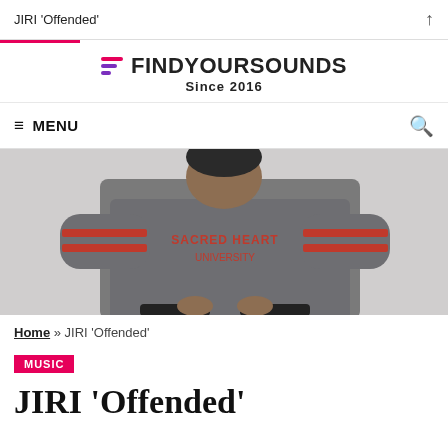JIRI 'Offended'
[Figure (logo): FindYourSounds logo with tagline SINCE 2016 and three-line icon in pink and purple]
≡ MENU
[Figure (photo): Person wearing a grey Sacred Heart University sweatshirt with red stripes on sleeves, sitting against a white background]
Home » JIRI 'Offended'
MUSIC
JIRI 'Offended'